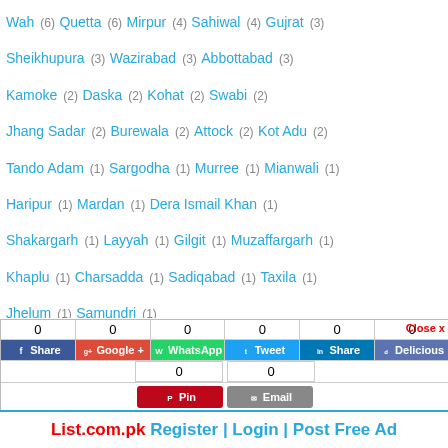Wah (6)  Quetta (6)  Mirpur (4)  Sahiwal (4)  Gujrat (3)
Sheikhupura (3)  Wazirabad (3)  Abbottabad (3)
Kamoke (2)  Daska (2)  Kohat (2)  Swabi (2)
Jhang Sadar (2)  Burewala (2)  Attock (2)  Kot Adu (2)
Tando Adam (1)  Sargodha (1)  Murree (1)  Mianwali (1)
Haripur (1)  Mardan (1)  Dera Ismail Khan (1)
Shakargarh (1)  Layyah (1)  Gilgit (1)  Muzaffargarh (1)
Khaplu (1)  Charsadda (1)  Sadiqabad (1)  Taxila (1)
Jhelum (1)  Samundri (1)
Close x
0  0  0  0  0  0
Share  Google+  WhatsApp  Tweet  Share  Delicious
0  0
Pin  Email
List.com.pk Register | Login | Post Free Ad